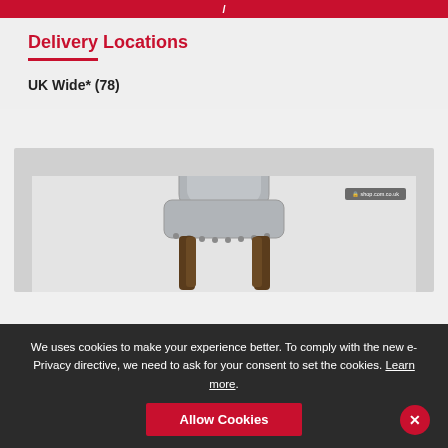/
Delivery Locations
UK Wide* (78)
[Figure (photo): A grey upholstered dining chair with wooden legs and stud detail trim, shown on a light background with a small watermark badge in the top right corner.]
We uses cookies to make your experience better. To comply with the new e-Privacy directive, we need to ask for your consent to set the cookies. Learn more.
Allow Cookies